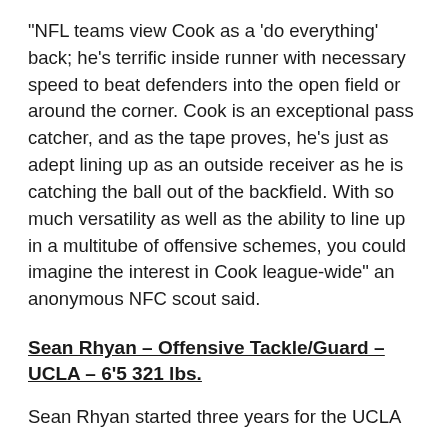“NFL teams view Cook as a ‘do everything’ back; he’s terrific inside runner with necessary speed to beat defenders into the open field or around the corner. Cook is an exceptional pass catcher, and as the tape proves, he’s just as adept lining up as an outside receiver as he is catching the ball out of the backfield. With so much versatility as well as the ability to line up in a multitube of offensive schemes, you could imagine the interest in Cook league-wide” an anonymous NFC scout said.
Sean Rhyan – Offensive Tackle/Guard – UCLA – 6’5 321 lbs.
Sean Rhyan started three years for the UCLA